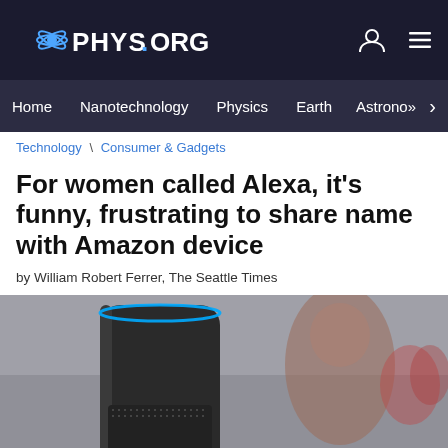PHYS.ORG
Home | Nanotechnology | Physics | Earth | Astronomy >
Technology \ Consumer & Gadgets
For women called Alexa, it's funny, frustrating to share name with Amazon device
by William Robert Ferrer, The Seattle Times
[Figure (photo): Amazon Echo device (tall cylindrical black speaker with blue ring on top) in the foreground, blurred woman in the background with red/pink flowers]